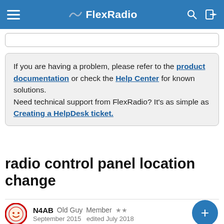FlexRadio
If you are having a problem, please refer to the product documentation or check the Help Center for known solutions.
Need technical support from FlexRadio? It's as simple as Creating a HelpDesk ticket.
radio control panel location change
N4AB  Old Guy  Member  ★★  September 2015  edited July 2018
It would be great to be able to move the individual control panels (TX, CW, EQ, etc.) and lock them in a different location or different screen. However that is